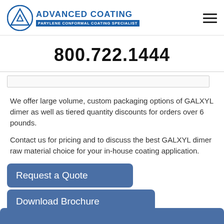[Figure (logo): Advanced Coating logo with triangle icon and text 'ADVANCED COATING - PARYLENE CONFORMAL COATING SPECIALIST']
800.722.1444
We offer large volume, custom packaging options of GALXYL dimer as well as tiered quantity discounts for orders over 6 pounds.
Contact us for pricing and to discuss the best GALXYL dimer raw material choice for your in-house coating application.
Request a Quote
Download Brochure